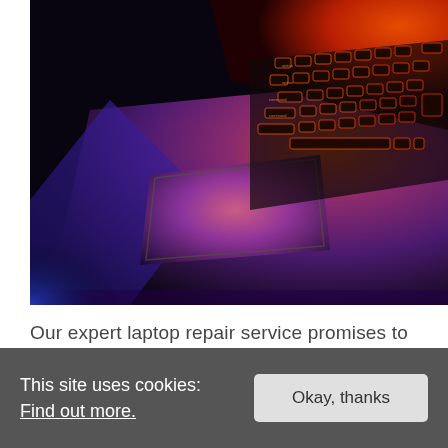[Figure (photo): Close-up photo of a laptop keyboard with colorful rainbow backlighting (orange, purple, pink, blue) in a dark environment, showing the trackpad and keyboard keys illuminated.]
Our expert laptop repair service promises to fix your laptop as quickly and precisely as possible. Our laptop repair service comes with 3 months warranty so you can rest assured that we have
This site uses cookies: Find out more.
Okay, thanks